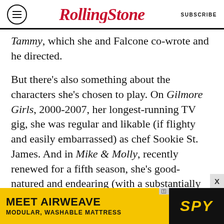RollingStone | SUBSCRIBE
Tammy, which she and Falcone co-wrote and he directed.
But there’s also something about the characters she’s chosen to play. On Gilmore Girls, 2000-2007, her longest-running TV gig, she was regular and likable (if flighty and easily embarrassed) as chef Sookie St. James. And in Mike & Molly, recently renewed for a fifth season, she’s good-natured and endearing (with a substantially beefed-up role this year, to take advantage of her newfound stardom). But in the movies, she’s not only all of these things but also an oddball outsider, in dress, speech and manner, of the most major proportions. A good bit of this is
[Figure (other): Advertisement banner: MEET AIRWEAVE MODULAR, WASHABLE MATTRESS with SPY logo]